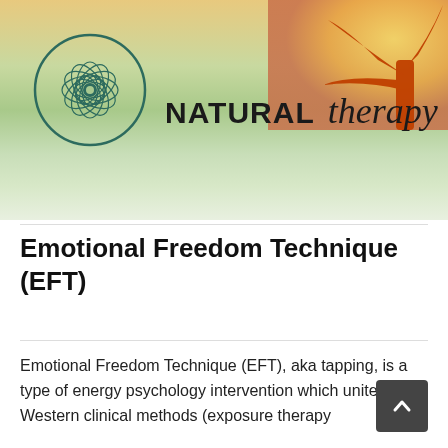[Figure (illustration): Natural Therapy website banner with a green-to-cream gradient background, an orange tree silhouette in the top right corner, a circular mandala logo on the left, and the brand name 'NATURAL therapy' in bold sans-serif and italic script.]
Emotional Freedom Technique (EFT)
Emotional Freedom Technique (EFT), aka tapping, is a type of energy psychology intervention which unites Western clinical methods (exposure therapy and cognitive restructuring) with Eastern healing